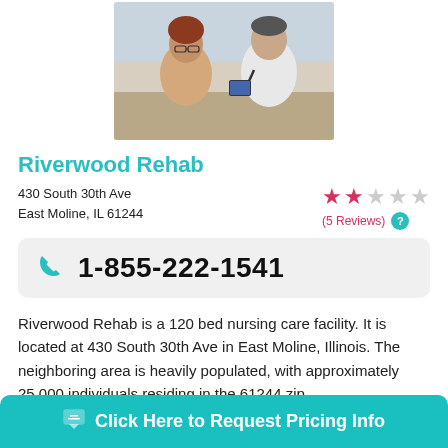[Figure (photo): Doctor in white coat with stethoscope consulting with a female patient at a desk]
Riverwood Rehab
430 South 30th Ave
East Moline, IL 61244
[Figure (other): Star rating showing 1.5 out of 5 stars, (5 Reviews) with help icon]
1-855-222-1541
Riverwood Rehab is a 120 bed nursing care facility. It is located at 430 South 30th Ave in East Moline, Illinois. The neighboring area is heavily populated, with approximately 25,000 individuals residing in the 61244 zip ...
Click Here to Request Pricing Info